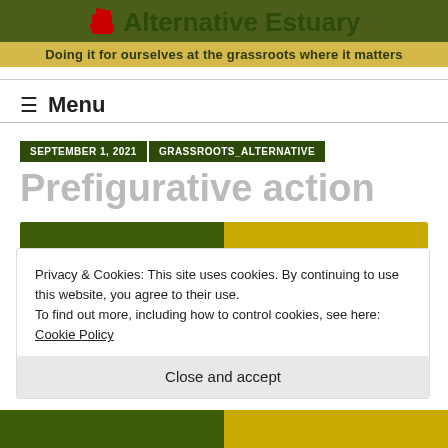Alternative Estuary — Doing it for ourselves at the grassroots where it matters
≡ Menu
SEPTEMBER 1, 2021   GRASSROOTS_ALTERNATIVE
Prefigurative action
[Figure (illustration): Green and yellow illustrated banner image, partially visible]
Privacy & Cookies: This site uses cookies. By continuing to use this website, you agree to their use.
To find out more, including how to control cookies, see here: Cookie Policy
Close and accept